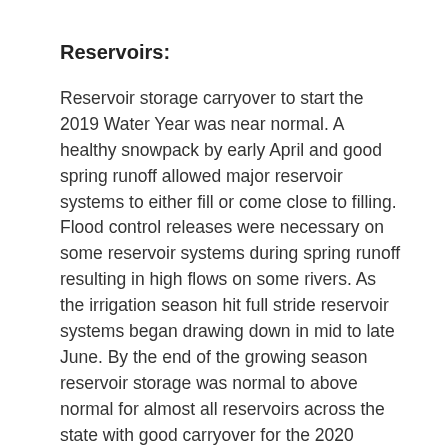Reservoirs:
Reservoir storage carryover to start the 2019 Water Year was near normal. A healthy snowpack by early April and good spring runoff allowed major reservoir systems to either fill or come close to filling.  Flood control releases were necessary on some reservoir systems during spring runoff resulting in high flows on some rivers. As the irrigation season hit full stride reservoir systems began drawing down in mid to late June. By the end of the growing season reservoir storage was normal to above normal for almost all reservoirs across the state with good carryover for the 2020 Water Year.